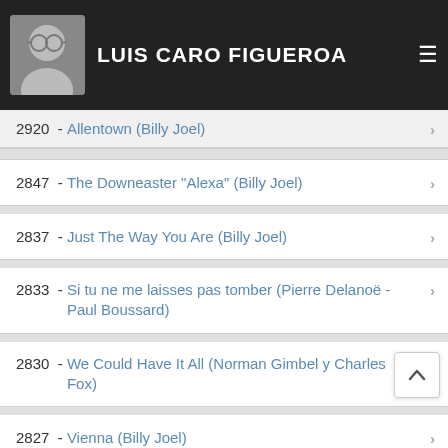LUIS CARO FIGUEROA
2920 - Allentown (Billy Joel)
2847 - The Downeaster "Alexa" (Billy Joel)
2837 - Just The Way You Are (Billy Joel)
2833 - Si tu ne me laisses pas tomber (Pierre Delanoë - Paul Boussard)
2830 - We Could Have It All (Norman Gimbel y Charles Fox)
2827 - Vienna (Billy Joel)
2782 - Against The Wind (Bob Seger)
2769 - Don't Be a Stranger (Coral Gordon - Geoff Gurd)